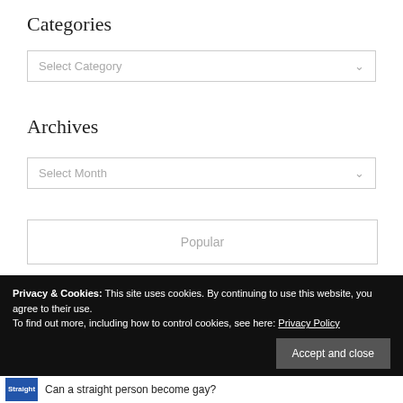Categories
[Figure (other): Dropdown selector labeled 'Select Category' with a down-arrow chevron]
Archives
[Figure (other): Dropdown selector labeled 'Select Month' with a down-arrow chevron]
[Figure (other): Box with text 'Popular']
Privacy & Cookies: This site uses cookies. By continuing to use this website, you agree to their use.
To find out more, including how to control cookies, see here: Privacy Policy
Accept and close
Can a straight person become gay?